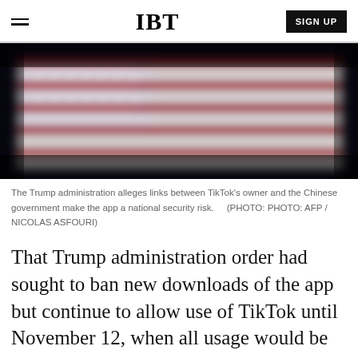IBT | SIGN UP
[Figure (photo): Blurred American flag image with dark background, red and white stripes and blue star field visible.]
The Trump administration alleges links between TikTok's owner and the Chinese government make the app a national security risk.    (PHOTO: PHOTO: AFP / NICOLAS ASFOURI)
That Trump administration order had sought to ban new downloads of the app but continue to allow use of TikTok until November 12, when all usage would be blocked.